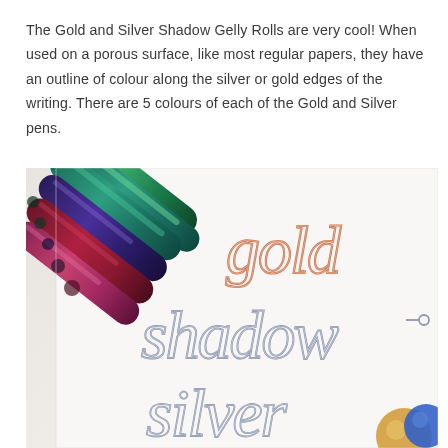The Gold and Silver Shadow Gelly Rolls are very cool! When used on a porous surface, like most regular papers, they have an outline of colour along the silver or gold edges of the writing. There are 5 colours of each of the Gold and Silver pens.
[Figure (photo): Photo showing metallic Gelly Roll pens (green, teal, dark red/purple) in the upper left corner, and a white paper with cursive lettering written in gold shadow and silver shadow ink showing the words 'gold', 'shadow', and 'silver' partially visible at the bottom.]